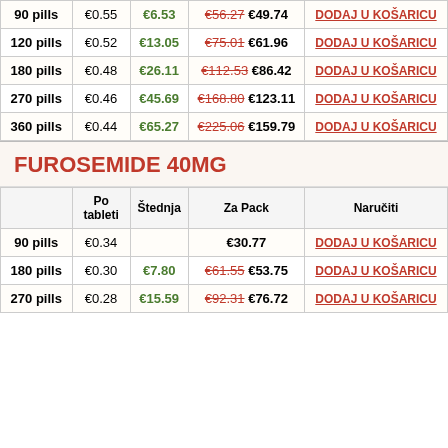|  | Po tableti | Štednja | Za Pack | Naručiti |
| --- | --- | --- | --- | --- |
| 90 pills | €0.55 | €6.53 | €56.27 €49.74 | DODAJ U KOŠARICU |
| 120 pills | €0.52 | €13.05 | €75.01 €61.96 | DODAJ U KOŠARICU |
| 180 pills | €0.48 | €26.11 | €112.53 €86.42 | DODAJ U KOŠARICU |
| 270 pills | €0.46 | €45.69 | €168.80 €123.11 | DODAJ U KOŠARICU |
| 360 pills | €0.44 | €65.27 | €225.06 €159.79 | DODAJ U KOŠARICU |
FUROSEMIDE 40MG
|  | Po tableti | Štednja | Za Pack | Naručiti |
| --- | --- | --- | --- | --- |
| 90 pills | €0.34 |  | €30.77 | DODAJ U KOŠARICU |
| 180 pills | €0.30 | €7.80 | €61.55 €53.75 | DODAJ U KOŠARICU |
| 270 pills | €0.28 | €15.59 | €92.31 €76.72 | DODAJ U KOŠARICU |